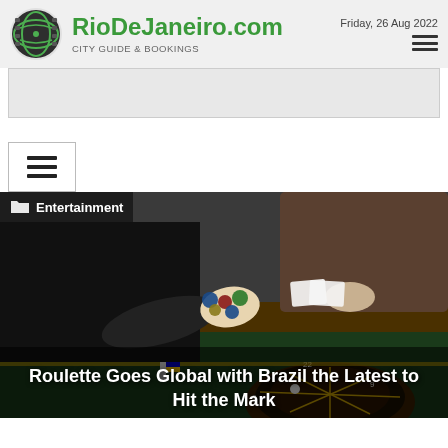RioDeJaneiro.com — CITY GUIDE & BOOKINGS — Friday, 26 Aug 2022
[Figure (photo): Casino roulette table scene with dealer hands handling chips and cards, roulette wheel visible in foreground]
Entertainment
Roulette Goes Global with Brazil the Latest to Hit the Mark